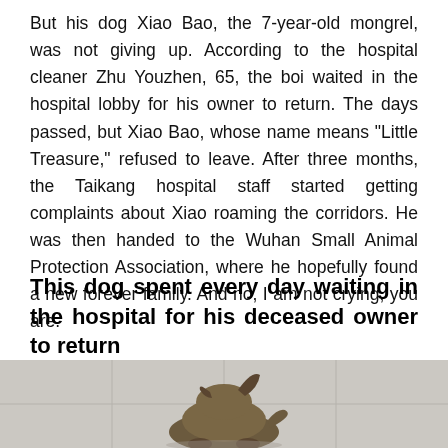But his dog Xiao Bao, the 7-year-old mongrel, was not giving up. According to the hospital cleaner Zhu Youzhen, 65, the boi waited in the hospital lobby for his owner to return. The days passed, but Xiao Bao, whose name means “Little Treasure,” refused to leave. After three months, the Taikang hospital staff started getting complaints about Xiao roaming the corridors. He was then handed to the Wuhan Small Animal Protection Association, where he hopefully found a new forever family. And no, I am not crying, you are.
This dog spent every day waiting in the hospital for his deceased owner to return
[Figure (photo): A dog lying on a tiled hospital floor, viewed from above/behind, showing the dog's back and a raised ear. The floor has light gray tiles.]